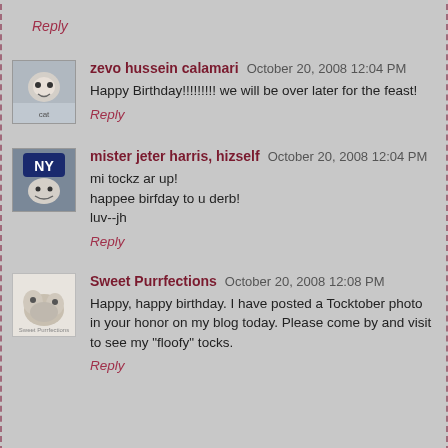Reply
zevo hussein calamari  October 20, 2008 12:04 PM
Happy Birthday!!!!!!!!! we will be over later for the feast!
Reply
mister jeter harris, hizself  October 20, 2008 12:04 PM
mi tockz ar up!
happee birfday to u derb!
luv--jh
Reply
Sweet Purrfections  October 20, 2008 12:08 PM
Happy, happy birthday. I have posted a Tocktober photo in your honor on my blog today. Please come by and visit to see my "floofy" tocks.
Reply